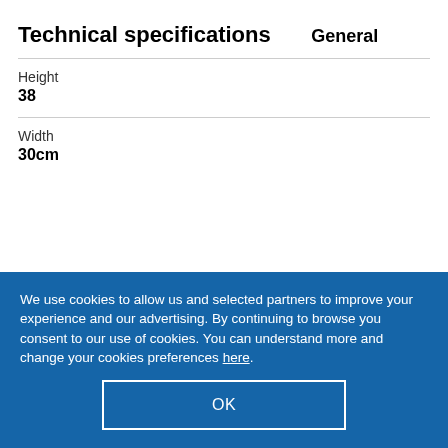Technical specifications
General
| Property | Value |
| --- | --- |
| Height | 38 |
| Width | 30cm |
We use cookies to allow us and selected partners to improve your experience and our advertising. By continuing to browse you consent to our use of cookies. You can understand more and change your cookies preferences here.
OK